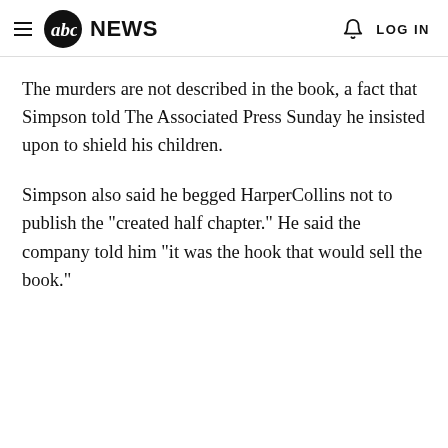abc NEWS   LOG IN
The murders are not described in the book, a fact that Simpson told The Associated Press Sunday he insisted upon to shield his children.
Simpson also said he begged HarperCollins not to publish the "created half chapter." He said the company told him "it was the hook that would sell the book."